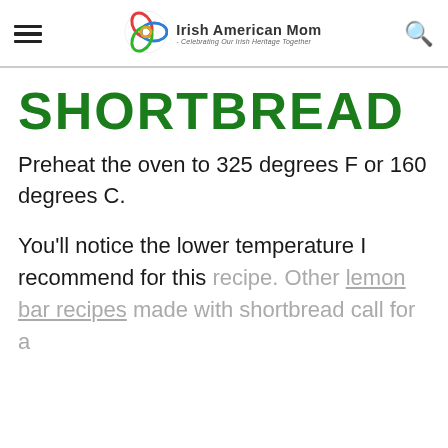Irish American Mom - Celebrating Our Irish Heritage Together
SHORTBREAD
Preheat the oven to 325 degrees F or 160 degrees C.
You'll notice the lower temperature I recommend for this recipe. Other lemon bar recipes made with shortbread call for a